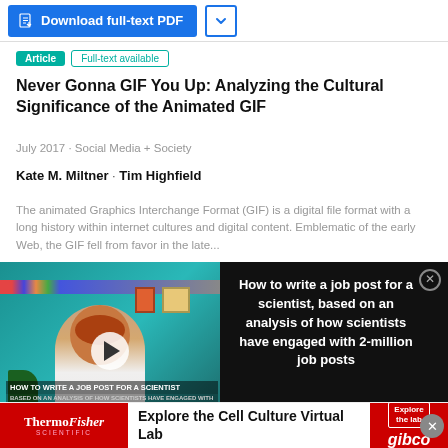[Figure (screenshot): Blue Download full-text PDF button with chevron dropdown]
Article · Full-text available
Never Gonna GIF You Up: Analyzing the Cultural Significance of the Animated GIF
July 2017 · Social Media + Society
Kate M. Miltner · Tim Highfield
The animated Graphics Interchange Format (GIF) is a digital file format with a long history within internet cultures and digital content. Emblematic of the early Web, the GIF fell from favor in the late...
[Figure (screenshot): Video thumbnail showing 'How to write a job post for a scientist, based on an analysis of how scientists have engaged with 2-million job posts' with a teal-background video thumbnail on the left and text on the right black panel]
Conference Paper
Advertisement
[Figure (screenshot): ThermoFisher Scientific advertisement - Explore the Cell Culture Virtual Lab - gibco]